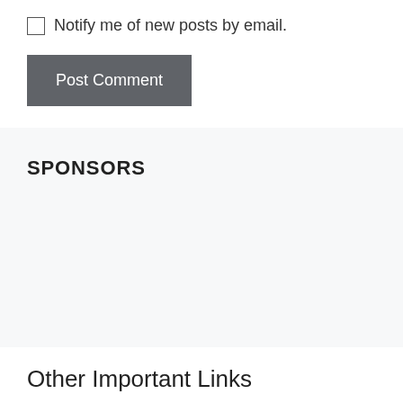Notify me of new posts by email.
Post Comment
SPONSORS
Other Important Links